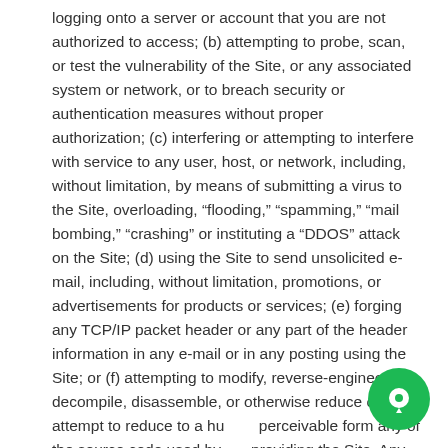logging onto a server or account that you are not authorized to access; (b) attempting to probe, scan, or test the vulnerability of the Site, or any associated system or network, or to breach security or authentication measures without proper authorization; (c) interfering or attempting to interfere with service to any user, host, or network, including, without limitation, by means of submitting a virus to the Site, overloading, “flooding,” “spamming,” “mail bombing,” “crashing” or instituting a “DDOS” attack on the Site; (d) using the Site to send unsolicited e-mail, including, without limitation, promotions, or advertisements for products or services; (e) forging any TCP/IP packet header or any part of the header information in any e-mail or in any posting using the Site; or (f) attempting to modify, reverse-engineer, decompile, disassemble, or otherwise reduce or attempt to reduce to a human perceivable form any of the source code used by the providing the Site. Any violation of system or network
[Figure (other): Green circular chat/support button overlay in bottom-right corner]